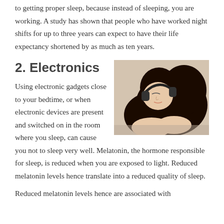to getting proper sleep, because instead of sleeping, you are working. A study has shown that people who have worked night shifts for up to three years can expect to have their life expectancy shortened by as much as ten years.
2. Electronics
[Figure (photo): Woman lying down with headphones on, eyes closed, with curly dark hair spread around her]
Using electronic gadgets close to your bedtime, or when electronic devices are present and switched on in the room where you sleep, can cause you not to sleep very well. Melatonin, the hormone responsible for sleep, is reduced when you are exposed to light. Reduced melatonin levels hence translate into a reduced quality of sleep.
Reduced melatonin levels hence are associated with